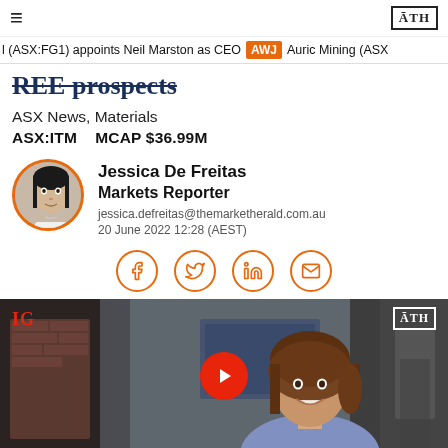≡   ĀTH
l (ASX:FG1) appoints Neil Marston as CEO  AWJ  Auric Mining (ASX
REE prospects
ASX News, Materials
ASX:ITM    MCAP $36.99M
Jessica De Freitas
Markets Reporter
jessica.defreitas@themarketherald.com.au
20 June 2022 12:28  (AEST)
[Figure (other): Social media share icons: Facebook, Twitter, LinkedIn, Email — orange circle outline buttons]
[Figure (photo): Video thumbnail showing a female news presenter smiling, with IG logo in red top-left, ATH logo top-right in white box, and a red play button in the center]